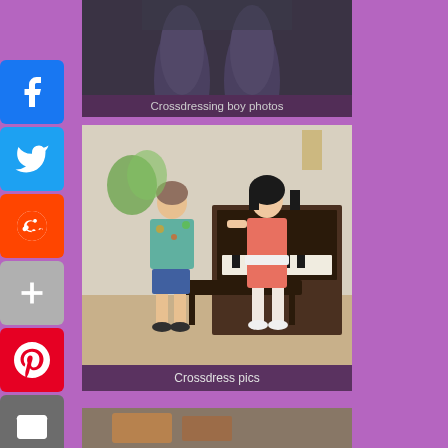[Figure (screenshot): Website screenshot with purple background showing social media share buttons (Facebook, Twitter, Reddit, Plus, Pinterest, Mail, More) on the left sidebar, and photo gallery cards in the center showing crossdressing themed images with captions]
Crossdressing boy photos
Crossdress pics